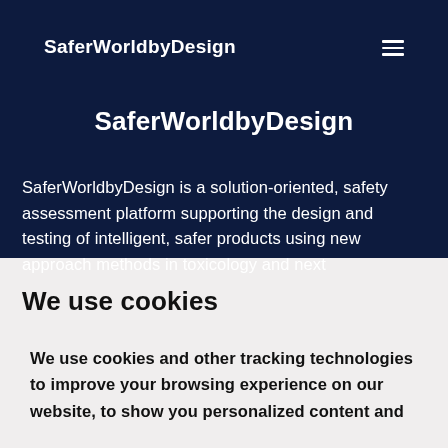SaferWorldbyDesign
SaferWorldbyDesign
SaferWorldbyDesign is a solution-oriented, safety assessment platform supporting the design and testing of intelligent, safer products using new approach methods in toxicology and next
We use cookies
We use cookies and other tracking technologies to improve your browsing experience on our website, to show you personalized content and